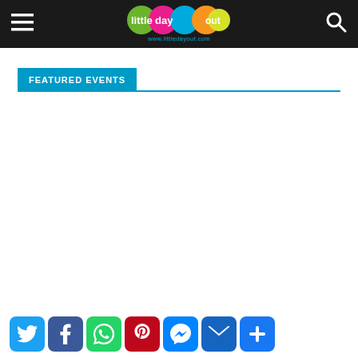little day out — www.littledayout.com
FEATURED EVENTS
[Figure (other): Social sharing icons row: Twitter, Facebook, WhatsApp, Pinterest, Messenger, Email, More]